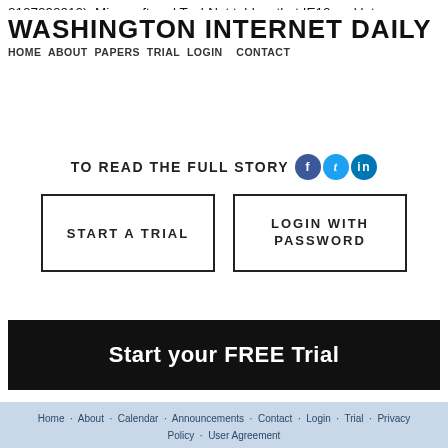2107090010). Microsoft and TechNet told us that IE10 and later versions is the best, safest option, but advocates accused industry of profit-seeking self-interest.
WASHINGTON INTERNET DAILY
HOME · ABOUT · PAPERS · TRIAL · LOGIN · CONTACT
TO READ THE FULL STORY
START A TRIAL
LOGIN WITH PASSWORD
Start your FREE Trial
Home · About · Calendar · Announcements · Contact · Login · Trial · Privacy Policy · User Agreement